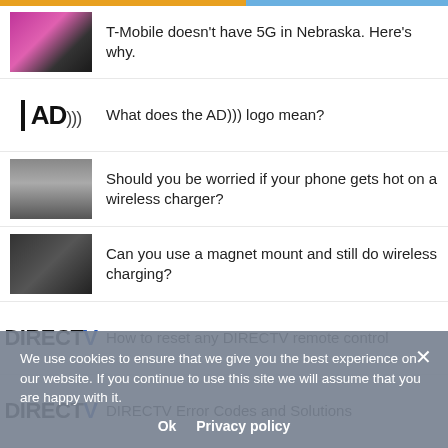T-Mobile doesn't have 5G in Nebraska. Here's why.
What does the AD))) logo mean?
Should you be worried if your phone gets hot on a wireless charger?
Can you use a magnet mount and still do wireless charging?
How to reset any DIRECTV remote control
DIRECTV Error Codes and Solutions
Do you really need to dial 1 before the area code (if you're on a cell phone?)
Why do phones have the * and # buttons? (And why do they call the # button "pound?")
Camera too dark in Teams? Here's the fix
We use cookies to ensure that we give you the best experience on our website. If you continue to use this site we will assume that you are happy with it.
Ok   Privacy policy